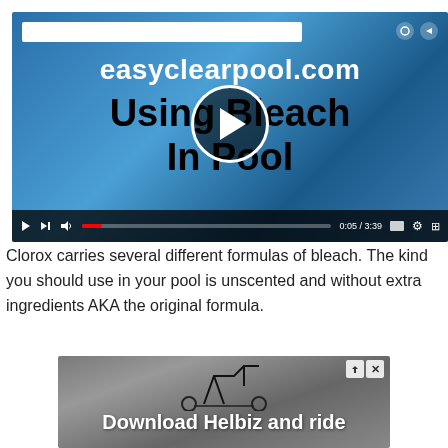[Figure (screenshot): Embedded video player showing 'easyclearpool.com Using Bleach In Pool' video thumbnail with play button, search bar, and video controls at bottom showing 0:05/3:39]
Clorox carries several different formulas of bleach. The kind you should use in your pool is unscented and without extra ingredients AKA the original formula.
[Figure (screenshot): Advertisement banner for 'Download Helbiz and ride' showing a scooter image with ad close/skip icons in the top right corner]